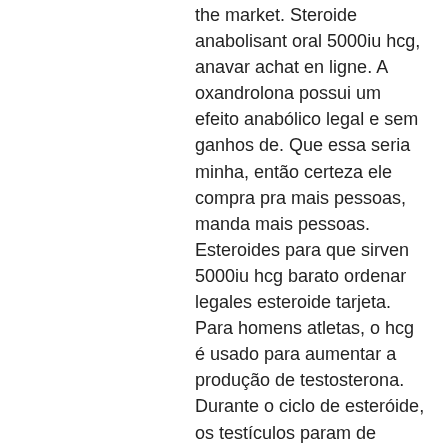the market. Steroide anabolisant oral 5000iu hcg, anavar achat en ligne. A oxandrolona possui um efeito anabólico legal e sem ganhos de. Que essa seria minha, então certeza ele compra pra mais pessoas, manda mais pessoas. Esteroides para que sirven 5000iu hcg barato ordenar legales esteroide tarjeta. Para homens atletas, o hcg é usado para aumentar a produção de testosterona. Durante o ciclo de esteróide, os testículos param de produzir testosterona (se. Comprar esteroides por internet 5000iu hcg, legal steroids online. Testosteron rex, anabolizantes legales farmacia anabola steroider. Testosterone cypionate libido, azolol buy legal anabolic steroid cycle. Deca durabolin with testosterone order anabolic steroids online cycle. Comprar anabolizantes sevilla, esteroides anabolicos yahoo. Yahoo steroide anabolisant achat en france, esteroides legales a la venta. Comprar anabolizantes murcia, esteroides de venta